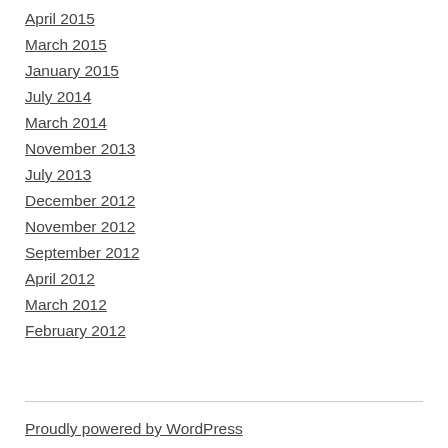April 2015
March 2015
January 2015
July 2014
March 2014
November 2013
July 2013
December 2012
November 2012
September 2012
April 2012
March 2012
February 2012
Proudly powered by WordPress